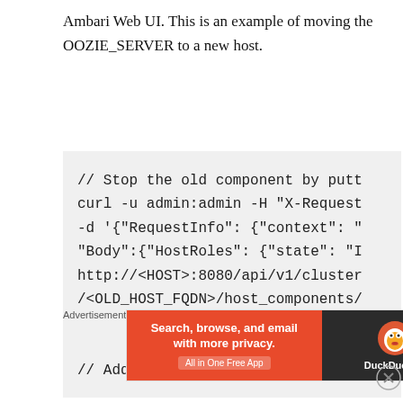Ambari Web UI. This is an example of moving the OOZIE_SERVER to a new host.
// Stop the old component by putt
curl -u admin:admin -H "X-Request
-d '{"RequestInfo": {"context": "
Body":{"HostRoles": {"state": "I
http://<HOST>:8080/api/v1/cluster
/<OLD_HOST_FQDN>/host_components/

// Add component to host
Advertisements
[Figure (infographic): DuckDuckGo advertisement banner: orange left side with text 'Search, browse, and email with more privacy. All in One Free App', dark right side with DuckDuckGo duck logo and brand name.]